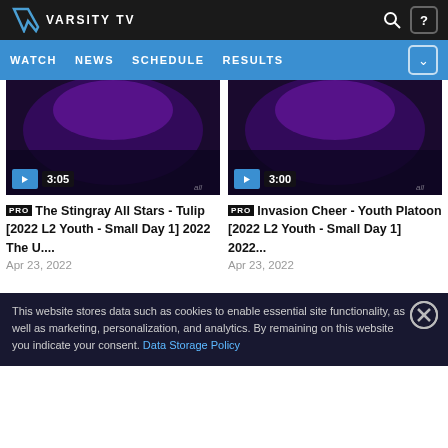VARSITY TV
WATCH  NEWS  SCHEDULE  RESULTS
[Figure (screenshot): Video thumbnail showing cheerleaders on stage with purple lighting, play button and duration 3:05]
PRO The Stingray All Stars - Tulip [2022 L2 Youth - Small Day 1] 2022 The U....
Apr 23, 2022
[Figure (screenshot): Video thumbnail showing cheerleaders on stage with purple lighting, play button and duration 3:00]
PRO Invasion Cheer - Youth Platoon [2022 L2 Youth - Small Day 1] 2022...
Apr 23, 2022
This website stores data such as cookies to enable essential site functionality, as well as marketing, personalization, and analytics. By remaining on this website you indicate your consent. Data Storage Policy